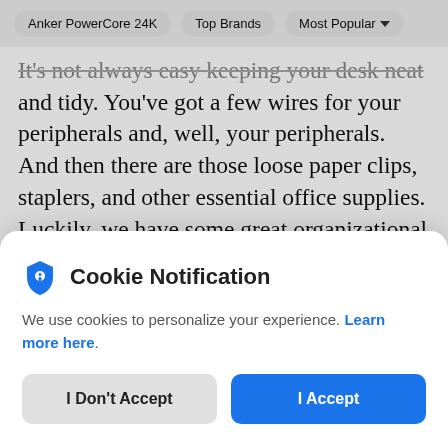Anker PowerCore 24K   Top Brands   Most Popular
It's not always easy keeping your desk neat and tidy. You've got a few wires for your peripherals and, well, your peripherals. And then there are those loose paper clips, staplers, and other essential office supplies. Luckily, we have some great organizational office gadgets and accessories to help you keep those items
Cookie Notification
We use cookies to personalize your experience. Learn more here.
I Don't Accept
I Accept